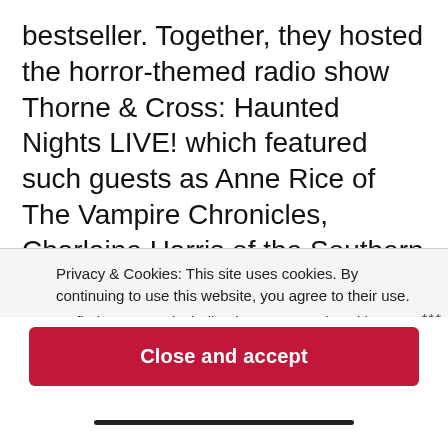bestseller. Together, they hosted the horror-themed radio show Thorne & Cross: Haunted Nights LIVE! which featured such guests as Anne Rice of The Vampire Chronicles, Charlaine Harris of the Southern Vampire Mysteries and basis of the HBO series True Blood, Jeff Lindsay, author of the Dexter novels, Jay Bonansinga of The Walking Dead series, Laurell K. Hamilton of the Anita Blake novels, Peter Atkins, screenwriter of Hellraiser 2, 3, and 4, worldwide bestseller VC Andrews, Kim Harrison of the Holl...
Privacy & Cookies: This site uses cookies. By continuing to use this website, you agree to their use.
To find out more, including how to control cookies, see here:
Cookie Policy
Close and accept